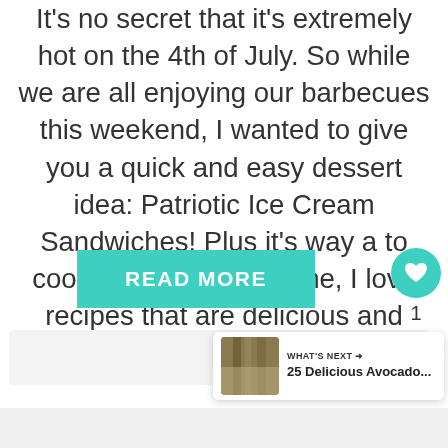It's no secret that it's extremely hot on the 4th of July. So while we are all enjoying our barbecues this weekend, I wanted to give you a quick and easy dessert idea: Patriotic Ice Cream Sandwiches! Plus it's way a to cool down! You know me, I love recipes that are delicious and simple …
[Figure (other): Teal/turquoise READ MORE button centered on the page]
[Figure (other): Round teal heart icon button with count of 1 and share icon below, on the right side]
[Figure (other): WHAT'S NEXT card with thumbnail image and text '25 Delicious Avocado...' in bottom right corner]